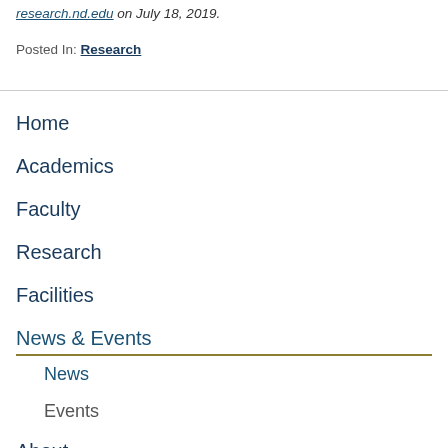research.nd.edu on July 18, 2019.
Posted In: Research
Home
Academics
Faculty
Research
Facilities
News & Events
News
Events
About